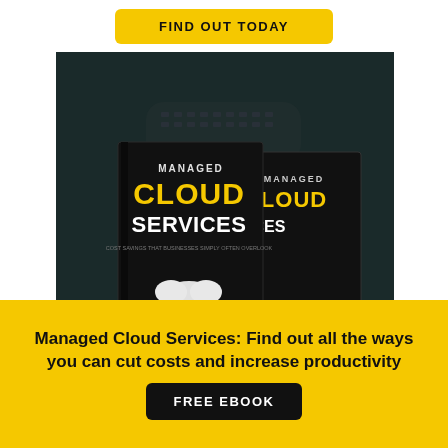[Figure (other): Yellow 'FIND OUT TODAY' button on white background at top of page]
[Figure (photo): Two 'Managed Cloud Services' ebook covers displayed on a dark background. The books show 'MANAGED CLOUD SERVICES' text in yellow and white, with cloud/technology illustrations at the bottom.]
Managed Cloud Services: Find out all the ways you can cut costs and increase productivity
[Figure (other): Black 'FREE EBOOK' button on yellow background]